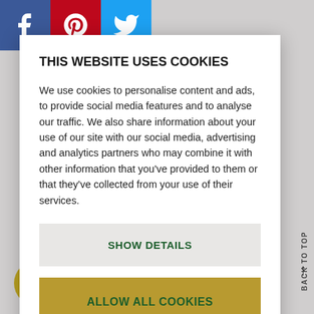[Figure (screenshot): Social media share icons: Facebook (blue), Pinterest (red), Twitter (light blue)]
THIS WEBSITE USES COOKIES
We use cookies to personalise content and ads, to provide social media features and to analyse our traffic. We also share information about your use of our site with our social media, advertising and analytics partners who may combine it with other information that you’ve provided to them or that they’ve collected from your use of their services.
SHOW DETAILS
ALLOW ALL COOKIES